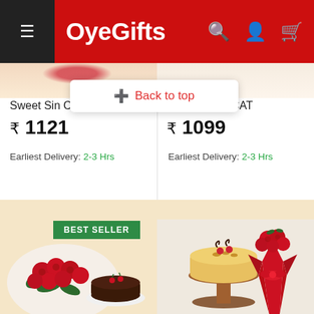OyeGifts
[Figure (photo): Top portion of product images (Sweet Sin Combo and another combo) partially visible]
Sweet Sin Combo
CAT
Back to top
₹ 1121
₹ 1099
Earliest Delivery: 2-3 Hrs
Earliest Delivery: 2-3 Hrs
[Figure (photo): Red roses bouquet with chocolate cake - Best Seller product image]
[Figure (photo): Butterscotch cake on wooden stand with red rose bouquet wrapped in red paper]